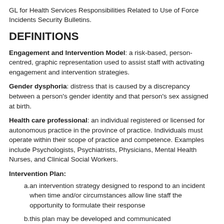GL for Health Services Responsibilities Related to Use of Force Incidents Security Bulletins.
DEFINITIONS
Engagement and Intervention Model: a risk-based, person-centred, graphic representation used to assist staff with activating engagement and intervention strategies.
Gender dysphoria: distress that is caused by a discrepancy between a person's gender identity and that person's sex assigned at birth.
Health care professional: an individual registered or licensed for autonomous practice in the province of practice. Individuals must operate within their scope of practice and competence. Examples include Psychologists, Psychiatrists, Physicians, Mental Health Nurses, and Clinical Social Workers.
Intervention Plan:
an intervention strategy designed to respond to an incident when time and/or circumstances allow line staff the opportunity to formulate their response
this plan may be developed and communicated simultaneously as an incident unfolds